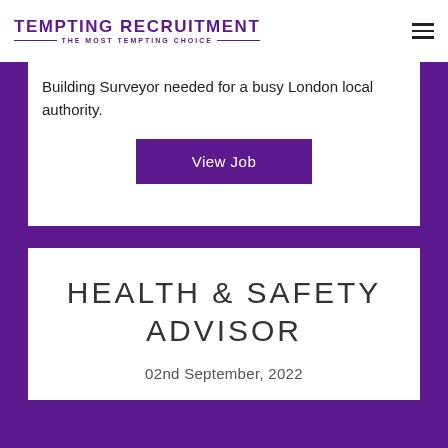TEMPTING RECRUITMENT — THE MOST TEMPTING CHOICE —
Building Surveyor needed for a busy London local authority.
View Job
HEALTH & SAFETY ADVISOR
02nd September, 2022